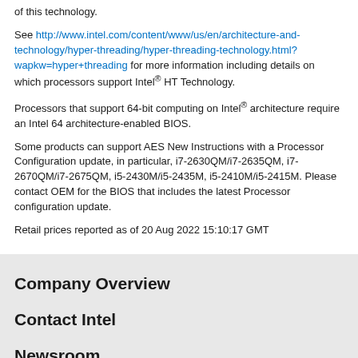of this technology.
See http://www.intel.com/content/www/us/en/architecture-and-technology/hyper-threading/hyper-threading-technology.html?wapkw=hyper+threading for more information including details on which processors support Intel® HT Technology.
Processors that support 64-bit computing on Intel® architecture require an Intel 64 architecture-enabled BIOS.
Some products can support AES New Instructions with a Processor Configuration update, in particular, i7-2630QM/i7-2635QM, i7-2670QM/i7-2675QM, i5-2430M/i5-2435M, i5-2410M/i5-2415M. Please contact OEM for the BIOS that includes the latest Processor configuration update.
Retail prices reported as of 20 Aug 2022 15:10:17 GMT
Company Overview
Contact Intel
Newsroom
Investors